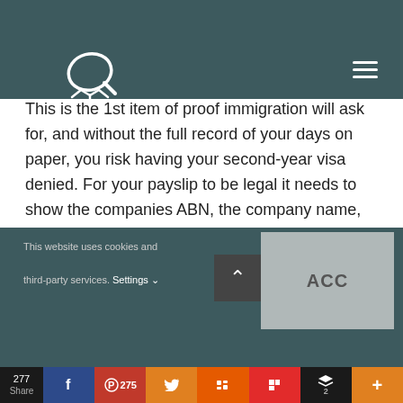This is the 1st item of proof immigration will ask for, and without the full record of your days on paper, you risk having your second-year visa denied. For your payslip to be legal it needs to show the companies ABN, the company name, your name, tax details, superannuation details as well as all your wage details and any deductions (more on this next!)
This website uses cookies and third-party services. Settings